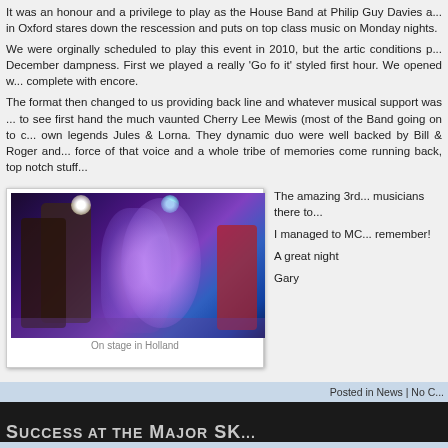It was an honour and a privilege to play as the House Band at Philip Guy Davies a... in Oxford stares down the rescession and puts on top class music on Monday nights.
We were orginally scheduled to play this event in 2010, but the artic conditions p... December dampness. First we played a really 'Go fo it' styled first hour. We opened w... complete with encore.
The format then changed to us providing back line and whatever musical support was ... to see first hand the much vaunted Cherry Lee Mewis (most of the Band going on to c... own legends Jules & Lorna. They dynamic duo were well backed by Bill & Roger and... force of that voice and a whole tribe of memories come running back, top notch stuff...
[Figure (photo): Band performing on stage with coloured stage lighting, multiple musicians playing guitars and other instruments in a dark venue]
On stage in Holland
The amazing 3rd... musicians there to...
I managed to MC... remember!
A great night
Gary
Posted in News | No C...
Success at the Major Sk...
February 3, 2012 |
Skegness 2012 was a major succes for the Band.